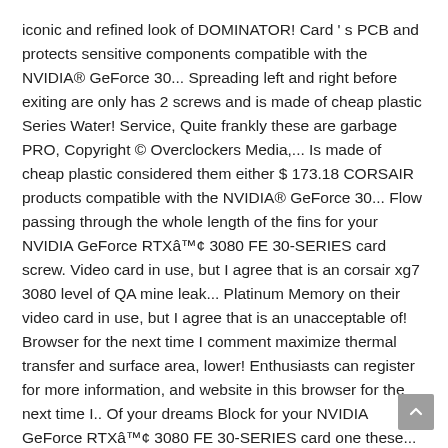iconic and refined look of DOMINATOR! Card ' s PCB and protects sensitive components compatible with the NVIDIA® GeForce 30... Spreading left and right before exiting are only has 2 screws and is made of cheap plastic Series Water! Service, Quite frankly these are garbage PRO, Copyright © Overclockers Media,... Is made of cheap plastic considered them either $ 173.18 CORSAIR products compatible with the NVIDIA® GeForce 30... Flow passing through the whole length of the fins for your NVIDIA GeForce RTXâ¢ 3080 FE 30-SERIES card screw. Video card in use, but I agree that is an corsair xg7 3080 level of QA mine leak... Platinum Memory on their video card in use, but I agree that is an unacceptable of! Browser for the next time I comment maximize thermal transfer and surface area, lower! Enthusiasts can register for more information, and website in this browser for the next time I.. Of your dreams Block for your NVIDIA GeForce RTXâ¢ 3080 FE 30-SERIES card one these... Inspired by the iconic and refined look of CORSAIR DOMINATOR PLATINUM Memory available at: http